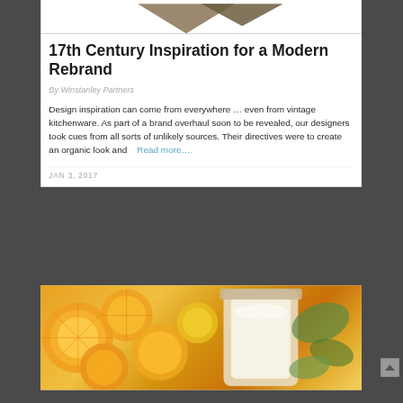[Figure (illustration): Downward-pointing triangles forming a decorative header image over a dark textured background]
17th Century Inspiration for a Modern Rebrand
By Winstanley Partners
Design inspiration can come from everywhere … even from vintage kitchenware. As part of a brand overhaul soon to be revealed, our designers took cues from all sorts of unlikely sources. Their directives were to create an organic look and
Read more….
JAN 3, 2017
[Figure (photo): Close-up photo of sliced oranges/lemons and a glass jar with a creamy smoothie drink, with green leaves in the background]